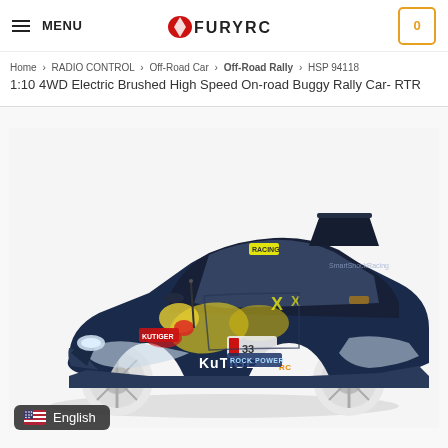MENU | FURYRC | 0
Home > RADIO CONTROL > Off-Road Car > Off-Road Rally > HSP 94118 1:10 4WD Electric Brushed High Speed On-road Buggy Rally Car- RTR
[Figure (photo): RC rally car model (KuTiger branded, dark blue/silver with yellow and red splatter graphics, number 33, white wheels) displayed on white background. Product is HSP 94118 1:10 4WD Electric Brushed High Speed On-road Buggy Rally Car.]
English